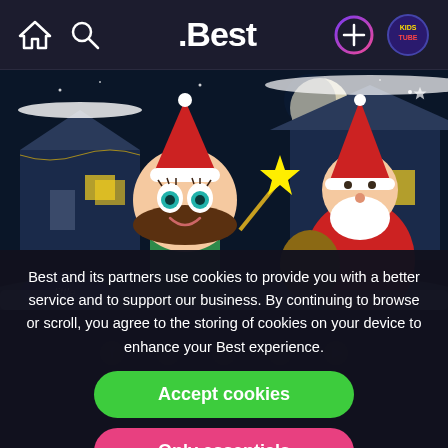.Best
[Figure (illustration): Animated Christmas scene with a cartoon girl wearing a Santa hat holding a star wand, and Santa Claus holding a sack of gifts against a snowy night background with houses and full moon. 'Little' watermark visible in lower left.]
Best and its partners use cookies to provide you with a better service and to support our business. By continuing to browse or scroll, you agree to the storing of cookies on your device to enhance your Best experience.
Accept cookies
Only essentials
Copyright ... all rights reserved
Privacy   Guidelines   ...   Terms of use
Legal Information
Learn more about our privacy policy.